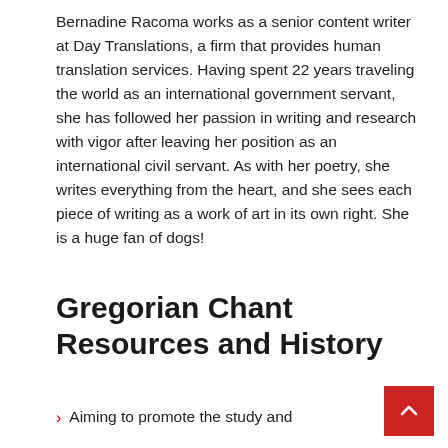Bernadine Racoma works as a senior content writer at Day Translations, a firm that provides human translation services. Having spent 22 years traveling the world as an international government servant, she has followed her passion in writing and research with vigor after leaving her position as an international civil servant. As with her poetry, she writes everything from the heart, and she sees each piece of writing as a work of art in its own right. She is a huge fan of dogs!
Gregorian Chant Resources and History
Aiming to promote the study and